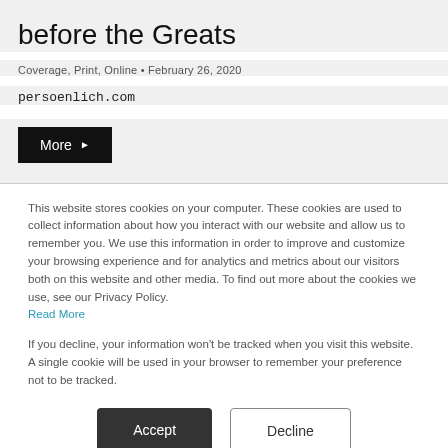before the Greats
Coverage, Print, Online • February 26, 2020
persoenlich.com
More ▶
This website stores cookies on your computer. These cookies are used to collect information about how you interact with our website and allow us to remember you. We use this information in order to improve and customize your browsing experience and for analytics and metrics about our visitors both on this website and other media. To find out more about the cookies we use, see our Privacy Policy. Read More
If you decline, your information won't be tracked when you visit this website. A single cookie will be used in your browser to remember your preference not to be tracked.
Accept
Decline